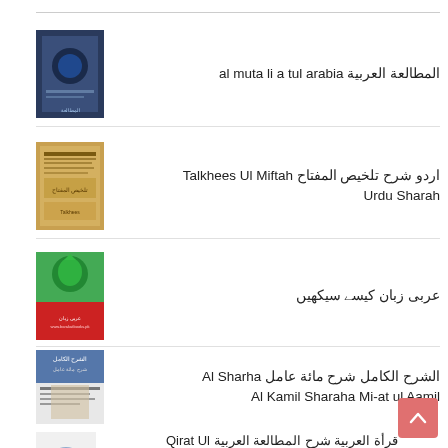al muta li a tul arabia المطالعة العربية
Talkhees Ul Miftah Urdu Sharah اردو شرح تلخيص المفتاح
عربی زبان کیسے سیکھیں
Al Sharha Al Kamil Sharaha Mi-at ul Aamil الشرح الکامل شرح مائة عامل
Qirat Ul Arbiya Sharaha Al Mutali Atul Arabiya قرأة العربية شرح المطالعة العربية